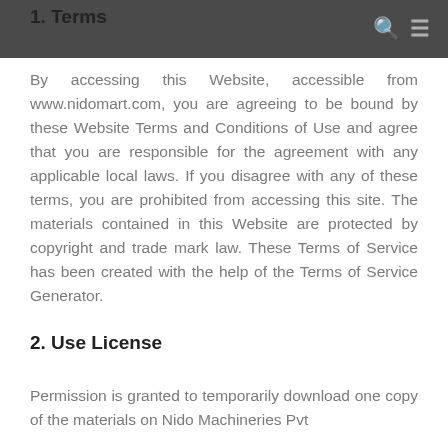1. Terms
By accessing this Website, accessible from www.nidomart.com, you are agreeing to be bound by these Website Terms and Conditions of Use and agree that you are responsible for the agreement with any applicable local laws. If you disagree with any of these terms, you are prohibited from accessing this site. The materials contained in this Website are protected by copyright and trade mark law. These Terms of Service has been created with the help of the Terms of Service Generator.
2. Use License
Permission is granted to temporarily download one copy of the materials on Nido Machineries Pvt